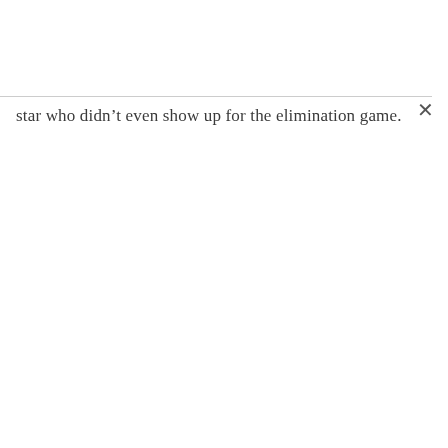star who didn't even show up for the elimination game.